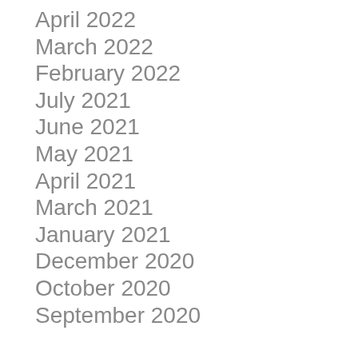April 2022
March 2022
February 2022
July 2021
June 2021
May 2021
April 2021
March 2021
January 2021
December 2020
October 2020
September 2020